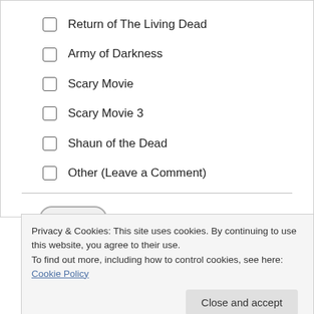Return of The Living Dead
Army of Darkness
Scary Movie
Scary Movie 3
Shaun of the Dead
Other (Leave a Comment)
Vote
Privacy & Cookies: This site uses cookies. By continuing to use this website, you agree to their use.
To find out more, including how to control cookies, see here: Cookie Policy
Close and accept